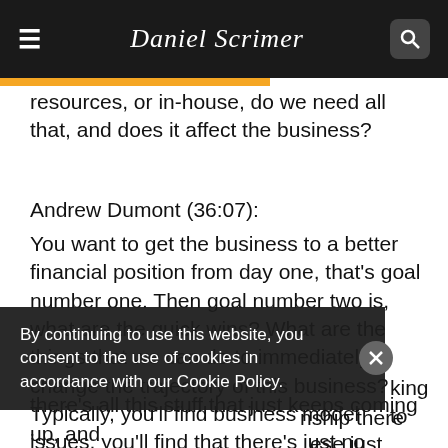Daniel Scrimer
resources, or in-house, do we need all that, and does it affect the business?
Andrew Dumont (36:07):
You want to get the business to a better financial position from day one, that's goal number one. Then goal number two is, what are the quick wins? What are the things that we can do to immediately change the trajectory of this business? Typically, you'll find business model issues, you'll find that there's just no process for talking to [nship there] [ese just] [keting side,] there's all this stuff that just keeps coming up, and
By continuing to use this website, you consent to the use of cookies in accordance with our Cookie Policy.